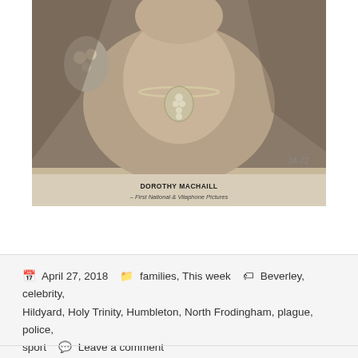[Figure (photo): Vintage black-and-white photograph of Dorothy Machaill, a woman wearing a sleeveless dress and a decorative necklace with a pendant. Caption at bottom reads: DOROTHY MACHAILL – First National & Vitaphone Pictures]
April 27, 2018   families, This week   Beverley, celebrity, Hildyard, Holy Trinity, Humbleton, North Frodingham, plague, police, sport   Leave a comment